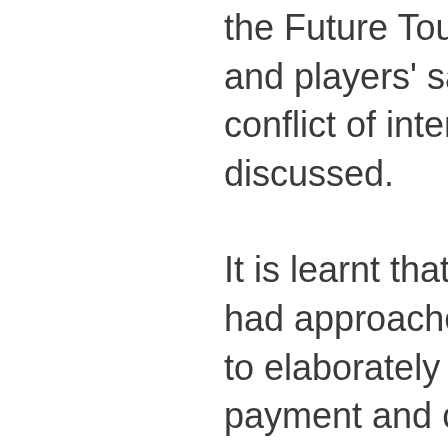the Future Tours Programme (FTP) and players' salary hike issue. The conflict of interest rules may also be discussed.
It is learnt that the team management had approached CoA chief Vinod Rai to elaborately discuss on the players' payment and contracts before the BCCI finalises the annual contracts of the players which are up for renewal since October 01.
Under the current contract the Board pays Rs 2 crore to Grade A players. Rs 1 crore to Gr...